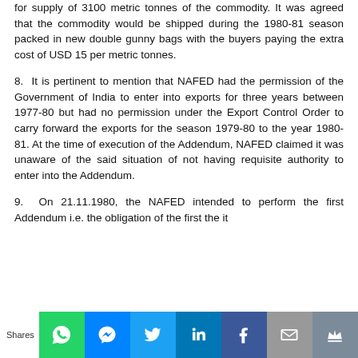for supply of 3100 metric tonnes of the commodity. It was agreed that the commodity would be shipped during the 1980-81 season packed in new double gunny bags with the buyers paying the extra cost of USD 15 per metric tonnes.
8. It is pertinent to mention that NAFED had the permission of the Government of India to enter into exports for three years between 1977-80 but had no permission under the Export Control Order to carry forward the exports for the season 1979-80 to the year 1980-81. At the time of execution of the Addendum, NAFED claimed it was unaware of the said situation of not having requisite authority to enter into the Addendum.
9. On 21.11.1980, the NAFED intended to perform the first Addendum i.e. the obligation of the first the it